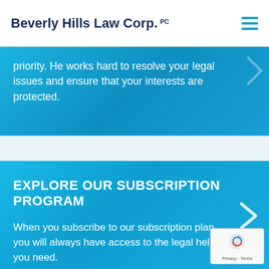Beverly Hills Law Corp. PC
priority. He works hard to resolve your legal issues and ensure that your interests are protected.
EXPLORE OUR SUBSCRIPTION PROGRAM
When you subscribe to our subscription plan, you will always have access to the legal help you need.